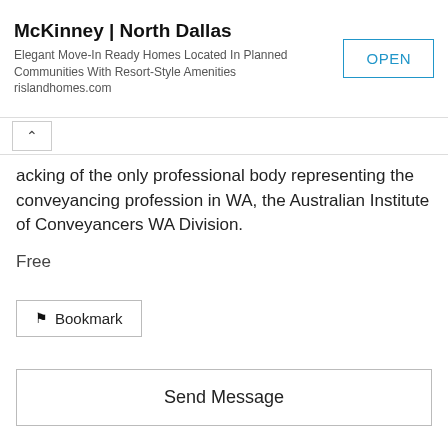[Figure (screenshot): Advertisement banner for McKinney | North Dallas real estate with OPEN button]
acking of the only professional body representing the conveyancing profession in WA, the Australian Institute of Conveyancers WA Division.
Free
Bookmark
Send Message
Photos (1)
Nearby Listings